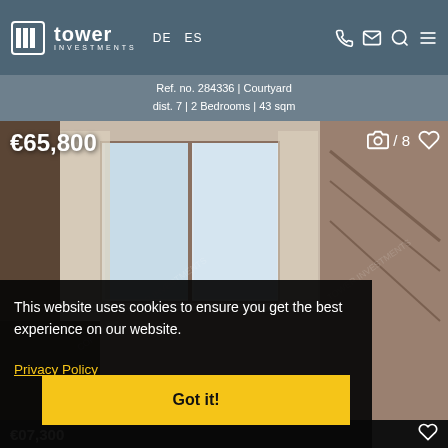Tower Investments — DE ES — navigation icons
Ref. no. 284336 | Courtyard dist. 7 | 2 Bedrooms | 43 sqm
[Figure (photo): Interior room photo of apartment showing windows with curtains, furniture, and bicycle in background. Price overlay €65,800 shown top-left, camera icon with /8 and heart icon top-right.]
This website uses cookies to ensure you get the best experience on our website.
Privacy Policy
Got it!
€07,300